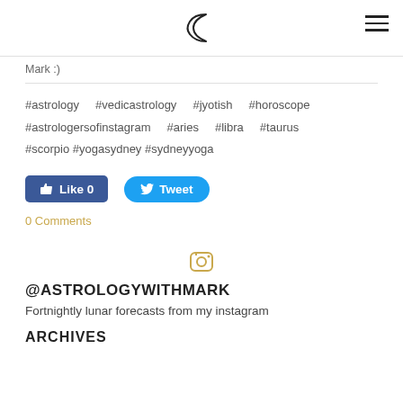[Moon icon] [Hamburger menu]
Mark :)
#astrology    #vedicastrology    #jyotish    #horoscope #astrologersofinstagram    #aries    #libra    #taurus #scorpio #yogasydney #sydneyyoga
[Figure (other): Facebook Like button showing count 0 and Twitter Tweet button]
0 Comments
[Figure (logo): Instagram camera icon in gold/tan color]
@ASTROLOGYWITHMARK
Fortnightly lunar forecasts from my instagram
ARCHIVES